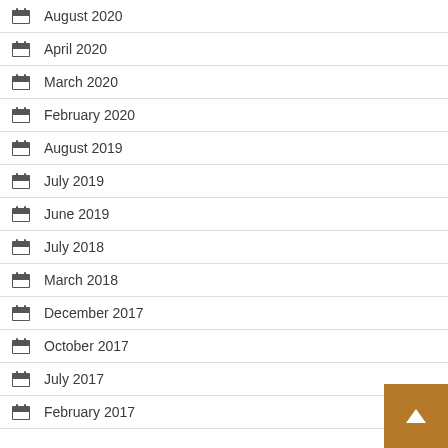August 2020
April 2020
March 2020
February 2020
August 2019
July 2019
June 2019
July 2018
March 2018
December 2017
October 2017
July 2017
February 2017